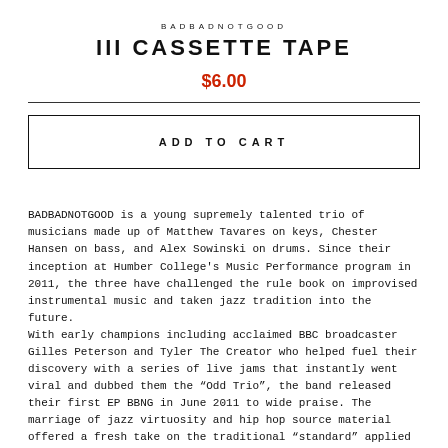BADBADNOTGOOD
III CASSETTE TAPE
$6.00
ADD TO CART
BADBADNOTGOOD is a young supremely talented trio of musicians made up of Matthew Tavares on keys, Chester Hansen on bass, and Alex Sowinski on drums. Since their inception at Humber College's Music Performance program in 2011, the three have challenged the rule book on improvised instrumental music and taken jazz tradition into the future.
With early champions including acclaimed BBC broadcaster Gilles Peterson and Tyler The Creator who helped fuel their discovery with a series of live jams that instantly went viral and dubbed them the “Odd Trio”, the band released their first EP BBNG in June 2011 to wide praise. The marriage of jazz virtuosity and hip hop source material offered a fresh take on the traditional “standard” applied to hip hop classics by taking